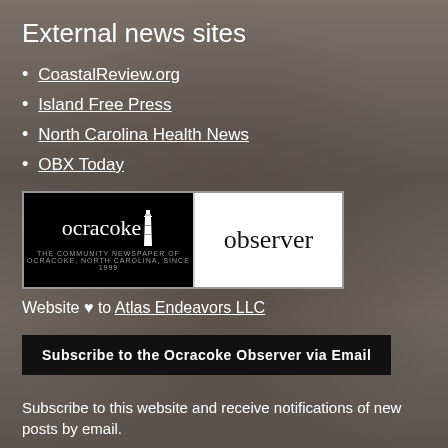External news sites
CoastalReview.org
Island Free Press
North Carolina Health News
OBX Today
[Figure (logo): Ocracoke Observer newspaper logo — black left panel with 'ocracoke' text and lighthouse icon, white right panel with 'observer' text, tagline 'THE COMMUNITY NEWSPAPER OF OCRACOKE, NORTH CAROLINA, SINCE 1999']
Website ♥ to Atlas Endeavors LLC
Subscribe to the Ocracoke Observer via Email
Subscribe to this website and receive notifications of new posts by email.